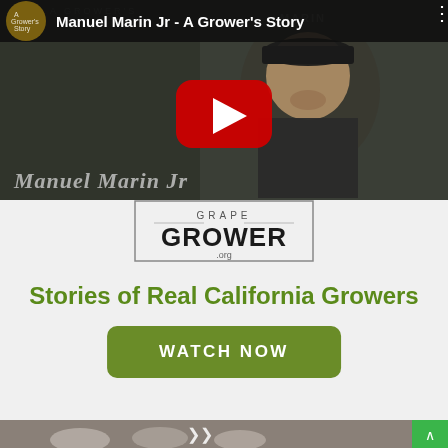[Figure (screenshot): YouTube video thumbnail showing a man named Manuel Marin Jr wearing a dark cap and jacket, with YouTube play button overlay and channel icon. Title bar reads: Manuel Marin Jr - A Grower's Story]
[Figure (logo): Grape Grower .org logo with rectangular border, text GRAPE above GROWER in large letters, .org below]
Stories of Real California Growers
WATCH NOW
[Figure (photo): Bottom strip showing cows and a green scroll-to-top button, with double chevron down arrow in center]